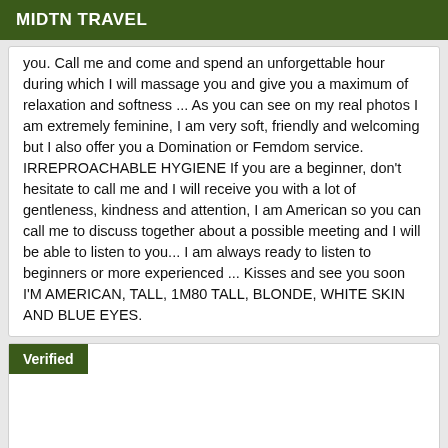MIDTN TRAVEL
you. Call me and come and spend an unforgettable hour during which I will massage you and give you a maximum of relaxation and softness ... As you can see on my real photos I am extremely feminine, I am very soft, friendly and welcoming but I also offer you a Domination or Femdom service. IRREPROACHABLE HYGIENE If you are a beginner, don't hesitate to call me and I will receive you with a lot of gentleness, kindness and attention, I am American so you can call me to discuss together about a possible meeting and I will be able to listen to you... I am always ready to listen to beginners or more experienced ... Kisses and see you soon I'M AMERICAN, TALL, 1M80 TALL, BLONDE, WHITE SKIN AND BLUE EYES.
Verified